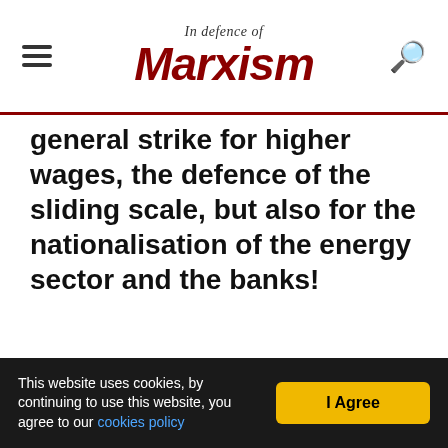In Defence of Marxism
general strike for higher wages, the defence of the sliding scale, but also for the nationalisation of the energy sector and the banks!
This website uses cookies, by continuing to use this website, you agree to our cookies policy